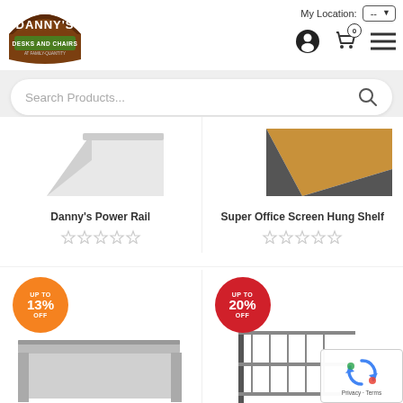[Figure (logo): Danny's Desks and Chairs logo - brown arch with white text on dark background]
My Location: --
[Figure (screenshot): Search Products... search bar with magnifying glass icon]
Danny's Power Rail
[Figure (other): Empty star rating (5 stars outline)]
Super Office Screen Hung Shelf
[Figure (other): Empty star rating (5 stars outline)]
[Figure (other): UP TO 13% OFF orange circle badge with product image below]
[Figure (other): UP TO 20% OFF red circle badge with product image below]
[Figure (other): reCAPTCHA widget with Privacy - Terms text]